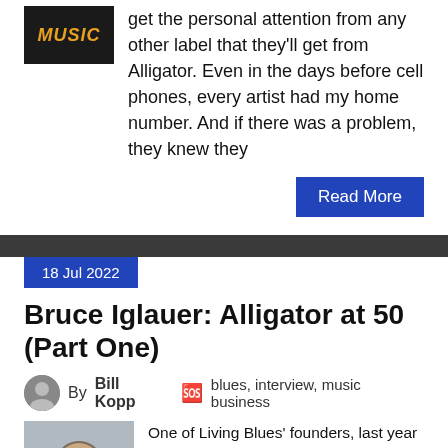get the personal attention from any other label that they'll get from Alligator. Even in the days before cell phones, every artist had my home number. And if there was a problem, they knew they
Read More
18 Jul 2022
Bruce Iglauer: Alligator at 50 (Part One)
By Bill Kopp   blues, interview, music business
One of Living Blues' founders, last year Bruce Iglauer celebrated the 50th anniversary of his Chicago-based label, Alligator Records. The acclaimed label commemorated the occasion with a new 3CD compilation, fittingly enough titled 50 Years of Genuine Houserockin' Music. I chatted with Bruce in on behalf of the allaccess.com